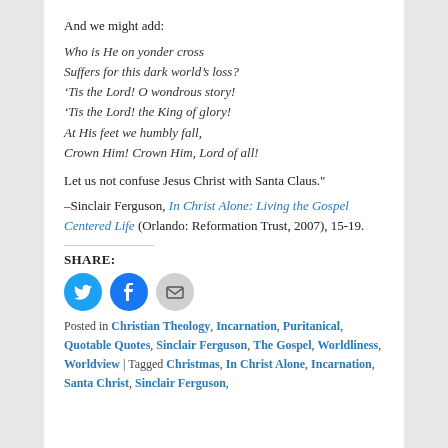And we might add:
Who is He on yonder cross
Suffers for this dark world's loss?
‘Tis the Lord! O wondrous story!
‘Tis the Lord! the King of glory!
At His feet we humbly fall,
Crown Him! Crown Him, Lord of all!
Let us not confuse Jesus Christ with Santa Claus."
–Sinclair Ferguson, In Christ Alone: Living the Gospel Centered Life (Orlando: Reformation Trust, 2007), 15-19.
SHARE:
[Figure (infographic): Three social share buttons: Twitter (blue circle with bird icon), Facebook (blue circle with f icon), Email (grey circle with envelope icon)]
Posted in Christian Theology, Incarnation, Puritanical, Quotable Quotes, Sinclair Ferguson, The Gospel, Worldliness, Worldview | Tagged Christmas, In Christ Alone, Incarnation, Santa Christ, Sinclair Ferguson,